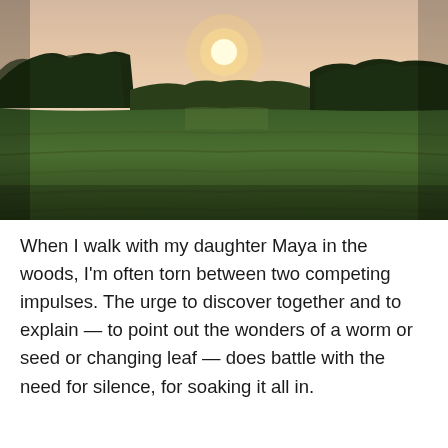[Figure (photo): Outdoor landscape photograph at sunset or sunrise showing a large green agricultural field in the foreground, a line of trees in the middle ground, a body of water (lake or sea) and distant hills in the background, with a bright sun low in a pink-orange hazy sky.]
When I walk with my daughter Maya in the woods, I'm often torn between two competing impulses. The urge to discover together and to explain — to point out the wonders of a worm or seed or changing leaf — does battle with the need for silence, for soaking it all in.